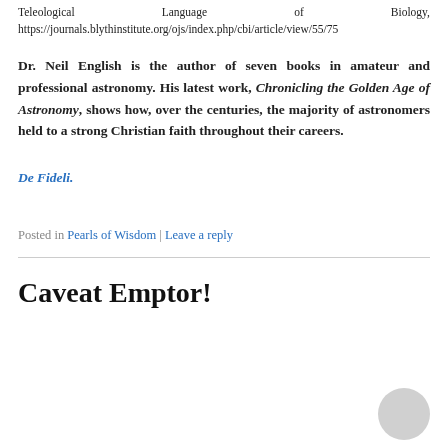Teleological Language of Biology, https://journals.blythinstitute.org/ojs/index.php/cbi/article/view/55/75
Dr. Neil English is the author of seven books in amateur and professional astronomy. His latest work, Chronicling the Golden Age of Astronomy, shows how, over the centuries, the majority of astronomers held to a strong Christian faith throughout their careers.
De Fideli.
Posted in Pearls of Wisdom | Leave a reply
Caveat Emptor!